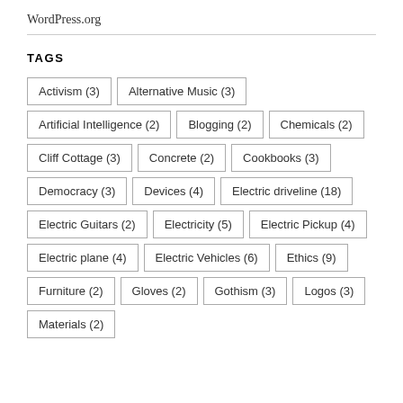WordPress.org
TAGS
Activism (3)
Alternative Music (3)
Artificial Intelligence (2)
Blogging (2)
Chemicals (2)
Cliff Cottage (3)
Concrete (2)
Cookbooks (3)
Democracy (3)
Devices (4)
Electric driveline (18)
Electric Guitars (2)
Electricity (5)
Electric Pickup (4)
Electric plane (4)
Electric Vehicles (6)
Ethics (9)
Furniture (2)
Gloves (2)
Gothism (3)
Logos (3)
Materials (2)